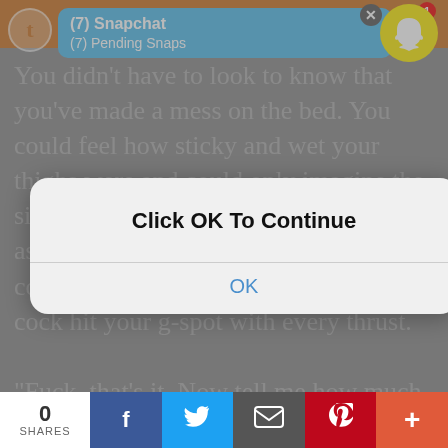[Figure (screenshot): Mobile browser screenshot showing a Tumblr fiction page with a Snapchat push notification overlay at top, a modal dialog saying 'Click OK To Continue' with an OK button in the center, and a social share bar at the bottom. Background text visible around the modal reads excerpts from a fiction story.]
You didn't have to look to know that you've made a mess on the bed. You could feel how sticky and wet your thighs were and could only imagine the sight Sanemi was seeing. And as much as you wanted to feel bad about it, you couldn't help but love how Sanemi's cock hit your g-spot with every thrust.
“Fuck, that's it. Now tell me how much of a slut you are and how much you love my cock.”
You could only let out gasps and moans feeling another orgasm, maybe your fifth one but you weren't really sure, approaching. Sanemi stopped his thrusts a
0 SHARES